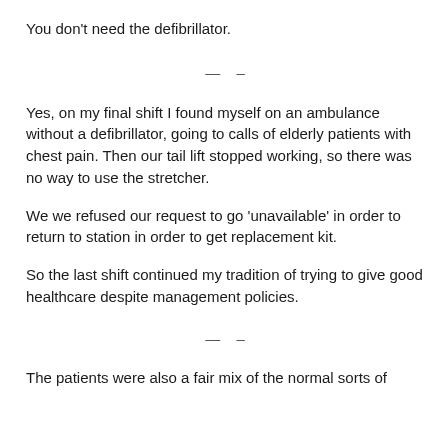You don't need the defibrillator.
— –
Yes, on my final shift I found myself on an ambulance without a defibrillator, going to calls of elderly patients with chest pain. Then our tail lift stopped working, so there was no way to use the stretcher.
We we refused our request to go 'unavailable' in order to return to station in order to get replacement kit.
So the last shift continued my tradition of trying to give good healthcare despite management policies.
— –
The patients were also a fair mix of the normal sorts of